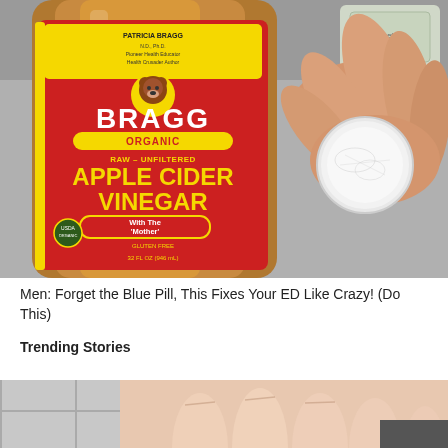[Figure (photo): A bottle of Bragg Organic Raw-Unfiltered Apple Cider Vinegar with the Mother, with a hand holding a cotton pad next to it on a gray table surface, with a small packet visible in the background.]
Men: Forget the Blue Pill, This Fixes Your ED Like Crazy! (Do This)
Trending Stories
[Figure (photo): A close-up photo of fingers/hand against a tiled floor background.]